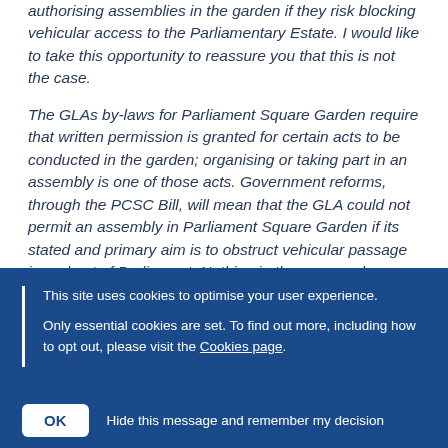authorising assemblies in the garden if they risk blocking vehicular access to the Parliamentary Estate. I would like to take this opportunity to reassure you that this is not the case.
The GLAs by-laws for Parliament Square Garden require that written permission is granted for certain acts to be conducted in the garden; organising or taking part in an assembly is one of those acts. Government reforms, through the PCSC Bill, will mean that the GLA could not permit an assembly in Parliament Square Garden if its stated and primary aim is to obstruct vehicular passage in and out of Parliament. Nothing in the proposed changes
This site uses cookies to optimise your user experience.

Only essential cookies are set. To find out more, including how to opt out, please visit the Cookies page.
OK   Hide this message and remember my decision